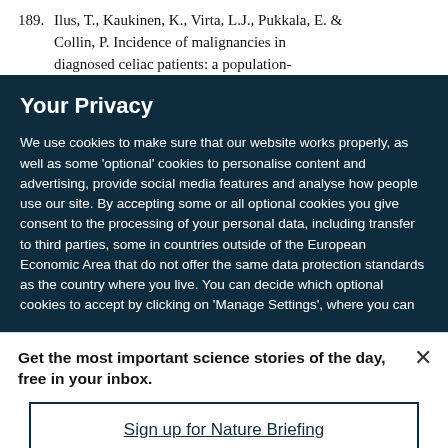189. Ilus, T., Kaukinen, K., Virta, L.J., Pukkala, E. & Collin, P. Incidence of malignancies in diagnosed celiac patients: a population-
Your Privacy
We use cookies to make sure that our website works properly, as well as some 'optional' cookies to personalise content and advertising, provide social media features and analyse how people use our site. By accepting some or all optional cookies you give consent to the processing of your personal data, including transfer to third parties, some in countries outside of the European Economic Area that do not offer the same data protection standards as the country where you live. You can decide which optional cookies to accept by clicking on 'Manage Settings', where you can
Get the most important science stories of the day, free in your inbox.
Sign up for Nature Briefing